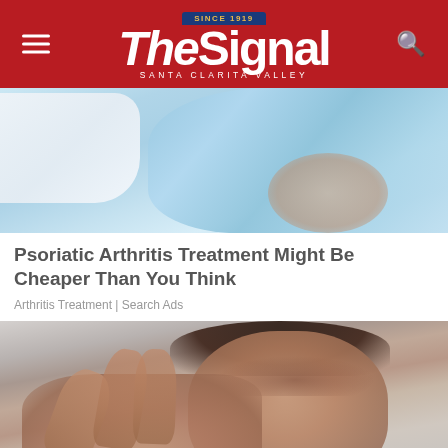The Signal — Santa Clarita Valley
[Figure (photo): Photo of person lying down wearing light blue top, cropped view of torso/arm area]
Psoriatic Arthritis Treatment Might Be Cheaper Than You Think
Arthritis Treatment | Search Ads
[Figure (photo): Photo of man with pained expression looking at his hands/fingers, possibly indicating joint pain from arthritis]